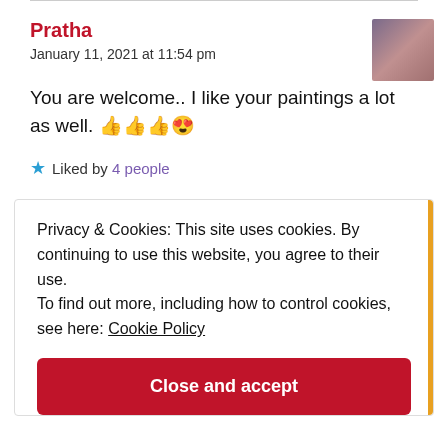Pratha
January 11, 2021 at 11:54 pm
You are welcome.. I like your paintings a lot as well. 👍👍👍😍
★ Liked by 4 people
Privacy & Cookies: This site uses cookies. By continuing to use this website, you agree to their use.
To find out more, including how to control cookies, see here: Cookie Policy
Close and accept